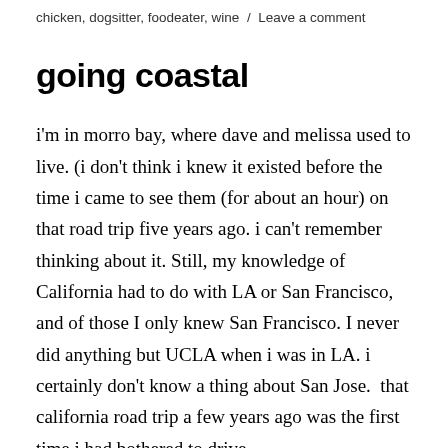chicken, dogsitter, foodeater, wine / Leave a comment
going coastal
i'm in morro bay, where dave and melissa used to live. (i don't think i knew it existed before the time i came to see them (for about an hour) on that road trip five years ago. i can't remember thinking about it. Still, my knowledge of California had to do with LA or San Francisco, and of those I only knew San Francisco. I never did anything but UCLA when i was in LA. i certainly don't know a thing about San Jose.  that california road trip a few years ago was the first time i had bothered to drive